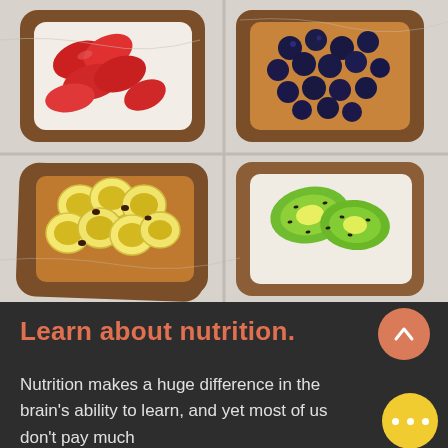[Figure (photo): Four slices of whole grain toast arranged in a 2x2 grid on a white marble surface. Top left: toast with cream and sliced strawberries. Top right: toast with peanut butter and blueberries. Bottom left: toast with peanut butter and banana slices with chocolate chips. Bottom right: toast with cream cheese and kiwi slices.]
Learn about nutrition.
Nutrition makes a huge difference in the brain's ability to learn, and yet most of us don't pay much